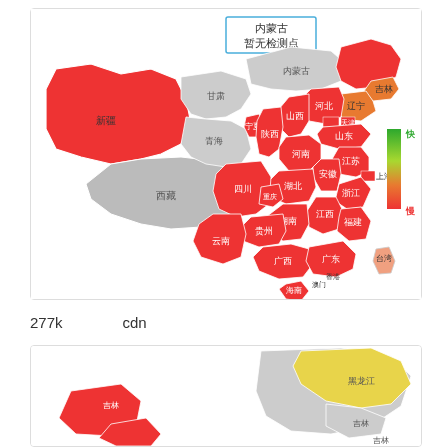[Figure (map): China speed test map showing internet speed by province. Most provinces shown in red (slow), Liaoning in orange, Inner Mongolia labeled with a tooltip '内蒙古 暂无检测点' (no test points). Legend on right shows color scale from 快(fast/green) to 慢(slow/red). Province labels visible: 新疆, 西藏, 甘肃, 青海, 内蒙古, 宁夏, 四川, 云南, 贵州, 广西, 广东, 福建, 浙江, 江苏, 山东, 河北, 天津, 北京, 山西, 河南, 湖北, 湖南, 江西, 安徽, 上海, 辽宁, 吉林, 黑龙江, 台湾, 香港, 澳门, 海南]
277k      cdn
[Figure (map): Partial China map showing provinces with mixed colors - red, yellow (黑龙江), and gray provinces. Labels visible: 黑龙江, 吉林 area.]